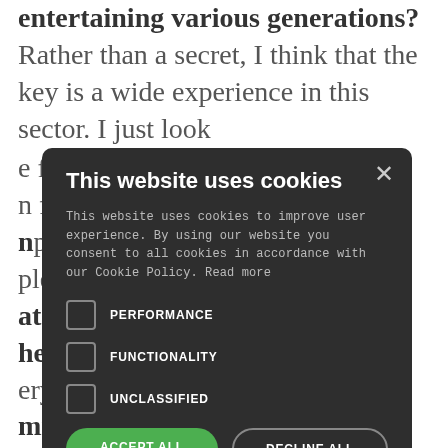entertaining various generations? Rather than a secret, I think that the key is a wide experience in this sector. I just look at the floor. I from important ple in at have these ery ming d when ayer and aw a DJ first and evocative place where you played?
[Figure (screenshot): Cookie consent modal dialog on dark background with title 'This website uses cookies', body text, checkboxes for PERFORMANCE, FUNCTIONALITY, UNCLASSIFIED, ACCEPT ALL and DECLINE ALL buttons, and SHOW DETAILS option.]